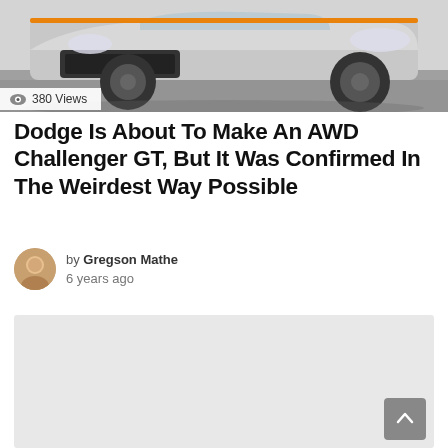[Figure (photo): Front view of a silver Dodge Challenger GT muscle car on a dark reflective floor]
380 Views
Dodge Is About To Make An AWD Challenger GT, But It Was Confirmed In The Weirdest Way Possible
by Gregson Mathe
6 years ago
[Figure (other): Advertisement / placeholder gray box with back-to-top arrow button]